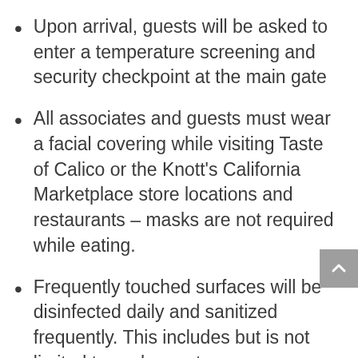Upon arrival, guests will be asked to enter a temperature screening and security checkpoint at the main gate
All associates and guests must wear a facial covering while visiting Taste of Calico or the Knott’s California Marketplace store locations and restaurants – masks are not required while eating.
Frequently touched surfaces will be disinfected daily and sanitized frequently. This includes but is not limited to cash counters, scanners, EMV